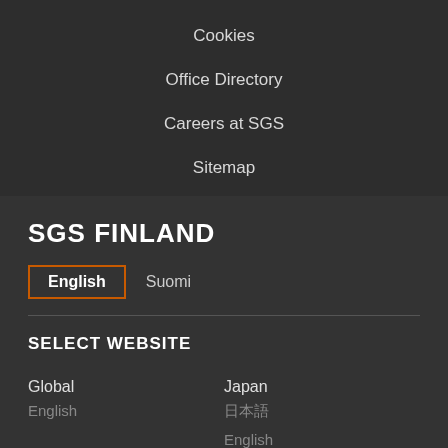Cookies
Office Directory
Careers at SGS
Sitemap
SGS FINLAND
English   Suomi
SELECT WEBSITE
Global
English
Japan
日本語
English
Algeria